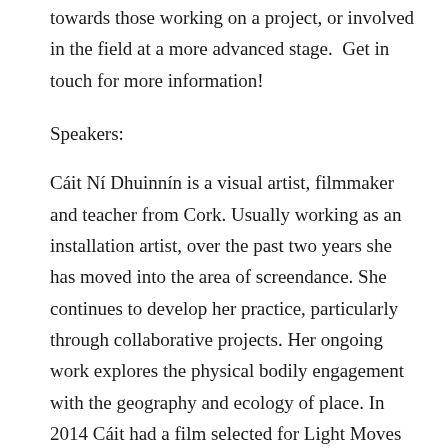towards those working on a project, or involved in the field at a more advanced stage.  Get in touch for more information!
Speakers:
Cáit Ní Dhuinnín is a visual artist, filmmaker and teacher from Cork. Usually working as an installation artist, over the past two years she has moved into the area of screendance. She continues to develop her practice, particularly through collaborative projects. Her ongoing work explores the physical bodily engagement with the geography and ecology of place. In 2014 Cáit had a film selected for Light Moves festival of screendance in Limerick, the Slua Chríon, a collaboration with dance artist...